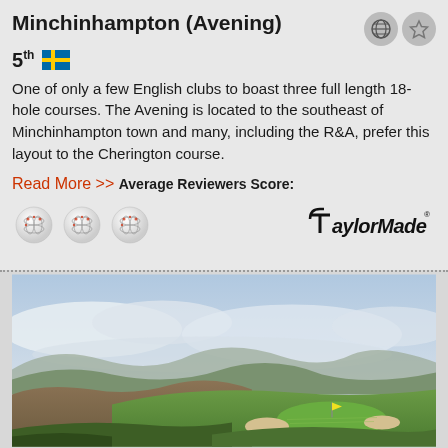Minchinhampton (Avening)
5th
One of only a few English clubs to boast three full length 18-hole courses. The Avening is located to the southeast of Minchinhampton town and many, including the R&A, prefer this layout to the Cherington course.
Read More >>
Average Reviewers Score:
[Figure (logo): TaylorMade logo]
[Figure (photo): Golf course landscape photo showing green fairway with bunkers, rolling hills, and cloudy sky]